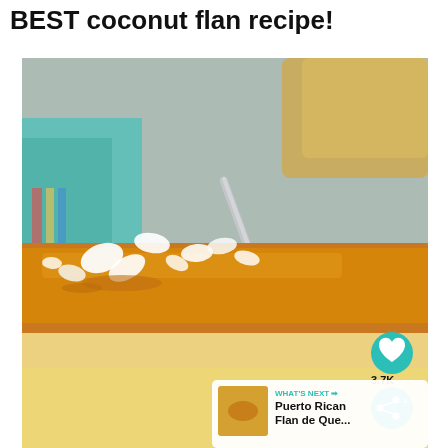BEST coconut flan recipe!
[Figure (photo): Close-up photo of a slice of coconut flan topped with caramel sauce and shredded coconut flakes, with a metal serving spatula in the background and a teal/turquoise napkin. A heart/like button showing 3.7K and a share button are overlaid on the right side. A 'WHAT'S NEXT' banner shows 'Puerto Rican Flan de Que...' at the bottom right.]